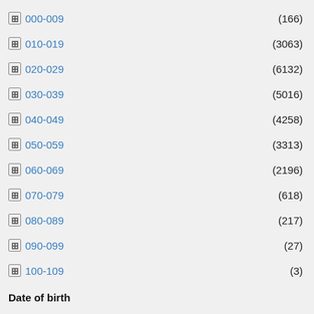000-009 (166)
010-019 (3063)
020-029 (6132)
030-039 (5016)
040-049 (4258)
050-059 (3313)
060-069 (2196)
070-079 (618)
080-089 (217)
090-099 (27)
100-109 (3)
Date of birth
Inferred
Date of death